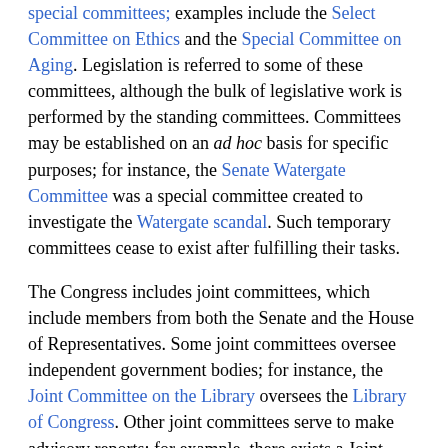special committees; examples include the Select Committee on Ethics and the Special Committee on Aging. Legislation is referred to some of these committees, although the bulk of legislative work is performed by the standing committees. Committees may be established on an ad hoc basis for specific purposes; for instance, the Senate Watergate Committee was a special committee created to investigate the Watergate scandal. Such temporary committees cease to exist after fulfilling their tasks.
The Congress includes joint committees, which include members from both the Senate and the House of Representatives. Some joint committees oversee independent government bodies; for instance, the Joint Committee on the Library oversees the Library of Congress. Other joint committees serve to make advisory reports; for example, there exists a Joint Committee on Taxation. Bills and nominees are not referred to joint committees. Hence, the power of joint committees is considerably lower than those of standing committees.
Each Senate committee and subcommittee is led by a chair (usually a member of the majority party). Formerly, committee chairs were determined purely by seniority; as a result, several